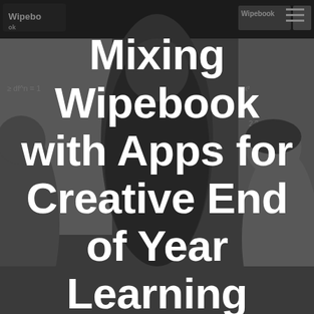[Figure (photo): Black and white photo of students (seen from behind) writing on whiteboards with Wipebook branding visible at top. Three students are working at whiteboards with math equations written on them.]
Mixing Wipebook with Apps for Creative End of Year Learning